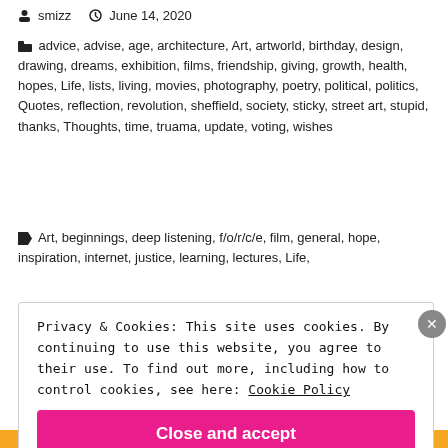smizz   June 14, 2020
advice, advise, age, architecture, Art, artworld, birthday, design, drawing, dreams, exhibition, films, friendship, giving, growth, health, hopes, Life, lists, living, movies, photography, poetry, political, politics, Quotes, reflection, revolution, sheffield, society, sticky, street art, stupid, thanks, Thoughts, time, truama, update, voting, wishes
Art, beginnings, deep listening, f/o/r/c/e, film, general, hope, inspiration, internet, justice, learning, lectures, Life,
Privacy & Cookies: This site uses cookies. By continuing to use this website, you agree to their use. To find out more, including how to control cookies, see here: Cookie Policy
Close and accept